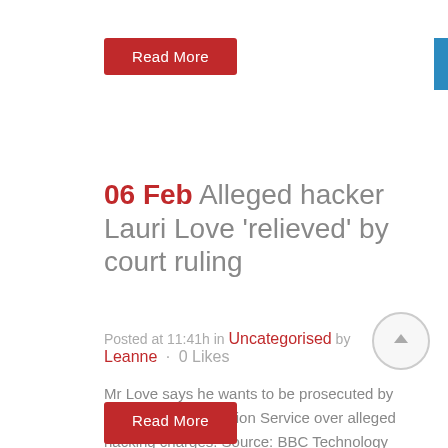Read More
06 Feb Alleged hacker Lauri Love 'relieved' by court ruling
Posted at 11:41h in Uncategorised by Leanne · 0 Likes
Mr Love says he wants to be prosecuted by the Crown Prosecution Service over alleged hacking charges. Source: BBC Technology News...
Read More